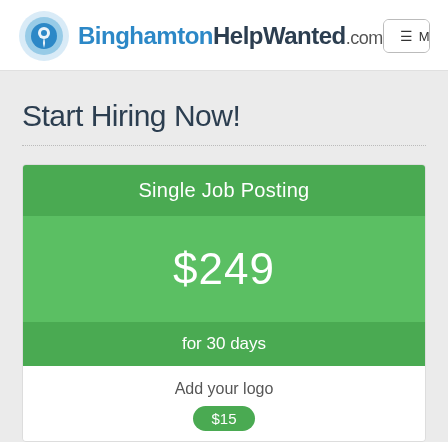[Figure (logo): BinghamtonHelpWanted.com logo with circular blue swirl icon]
Menu | Search Jobs
Start Hiring Now!
Single Job Posting
$249
for 30 days
Add your logo
$15